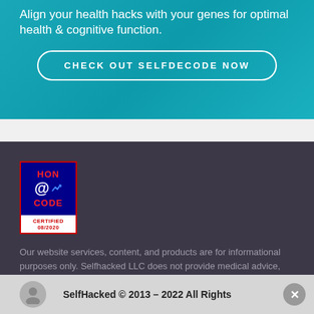Align your health hacks with your genes for optimal health & cognitive function.
CHECK OUT SELFDECODE NOW
[Figure (logo): HON Code Certified 08/2020 badge - blue and red badge with HON @code text and certified date]
Our website services, content, and products are for informational purposes only. Selfhacked LLC does not provide medical advice, diagnosis, or treatment. See additional information
SelfHacked © 2013 – 2022 All Rights